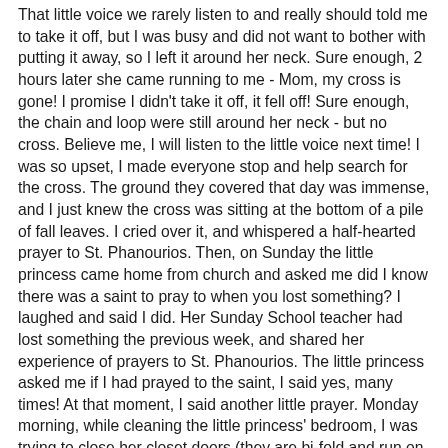That little voice we rarely listen to and really should told me to take it off, but I was busy and did not want to bother with putting it away, so I left it around her neck. Sure enough, 2 hours later she came running to me - Mom, my cross is gone! I promise I didn't take it off, it fell off! Sure enough, the chain and loop were still around her neck - but no cross. Believe me, I will listen to the little voice next time! I was so upset, I made everyone stop and help search for the cross. The ground they covered that day was immense, and I just knew the cross was sitting at the bottom of a pile of fall leaves. I cried over it, and whispered a half-hearted prayer to St. Phanourios. Then, on Sunday the little princess came home from church and asked me did I know there was a saint to pray to when you lost something? I laughed and said I did. Her Sunday School teacher had lost something the previous week, and shared her experience of prayers to St. Phanourios. The little princess asked me if I had prayed to the saint, I said yes, many times! At that moment, I said another little prayer. Monday morning, while cleaning the little princess' bedroom, I was trying to close her closet doors (they are bi-fold and run on a track that does not always work well). The doors kept sticking, and I kept forcing.